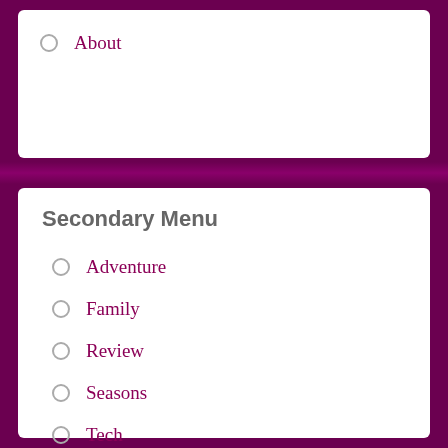About
Secondary Menu
Adventure
Family
Review
Seasons
Tech
Photographic
Art